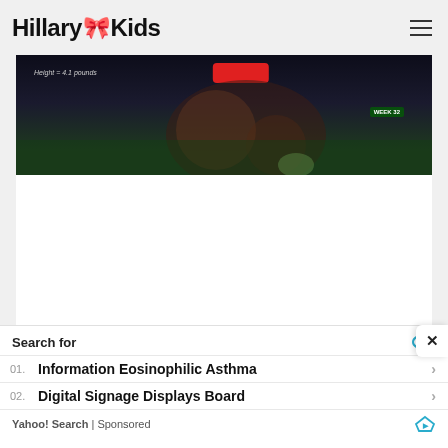HillaryKids
[Figure (screenshot): Partial image of a fetus/baby development graphic with text 'Height = 4.1 pounds', a red button, and a green badge reading 'WEEK 32' on a dark background]
Search for
01. Information Eosinophilic Asthma
02. Digital Signage Displays Board
Yahoo! Search | Sponsored